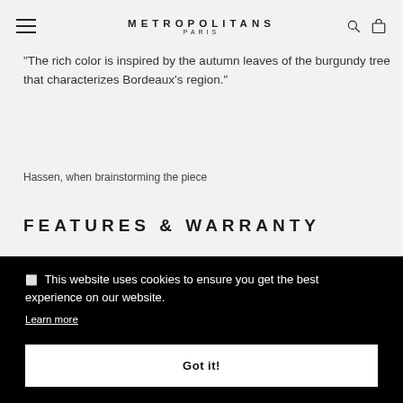METROPOLITANS PARIS
"The rich color is inspired by the autumn leaves of the burgundy tree that characterizes Bordeaux's region."
Hassen, when brainstorming the piece
FEATURES & WARRANTY
This website uses cookies to ensure you get the best experience on our website.
Learn more
Got it!